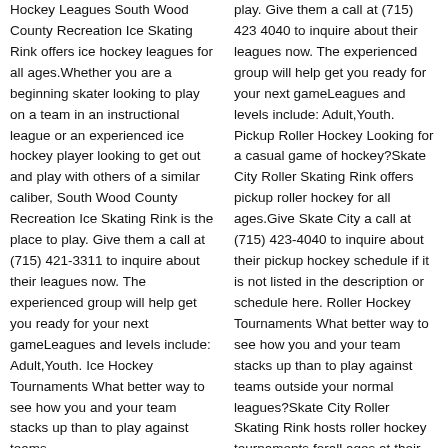Hockey Leagues South Wood County Recreation Ice Skating Rink offers ice hockey leagues for all ages.Whether you are a beginning skater looking to play on a team in an instructional league or an experienced ice hockey player looking to get out and play with others of a similar caliber, South Wood County Recreation Ice Skating Rink is the place to play. Give them a call at (715) 421-3311 to inquire about their leagues now. The experienced group will help get you ready for your next gameLeagues and levels include: Adult,Youth. Ice Hockey Tournaments What better way to see how you and your team stacks up than to play against teams
play. Give them a call at (715) 423 4040 to inquire about their leagues now. The experienced group will help get you ready for your next gameLeagues and levels include: Adult,Youth. Pickup Roller Hockey Looking for a casual game of hockey?Skate City Roller Skating Rink offers pickup roller hockey for all ages.Give Skate City a call at (715) 423-4040 to inquire about their pickup hockey schedule if it is not listed in the description or schedule here. Roller Hockey Tournaments What better way to see how you and your team stacks up than to play against teams outside your normal leagues?Skate City Roller Skating Rink hosts roller hockey tournaments forall ages.at their facilities.Call Skate City at (715) 423-